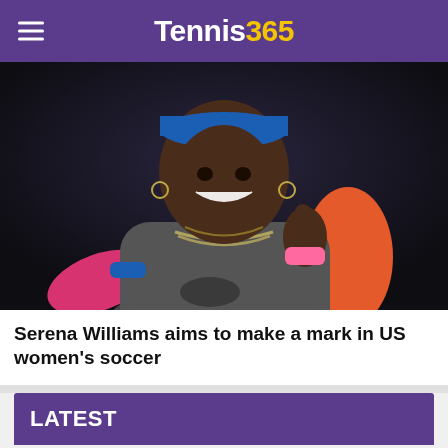Tennis365
[Figure (photo): Serena Williams smiling and giving thumbs up, wearing pink and grey tennis outfit with Nike logo, blue wristband, at a tennis event with dark background]
Serena Williams aims to make a mark in US women's soccer
LATEST
[Figure (photo): Three small thumbnail images of tennis players]
[Figure (photo): Thumbnail 2]
[Figure (photo): Thumbnail 3]